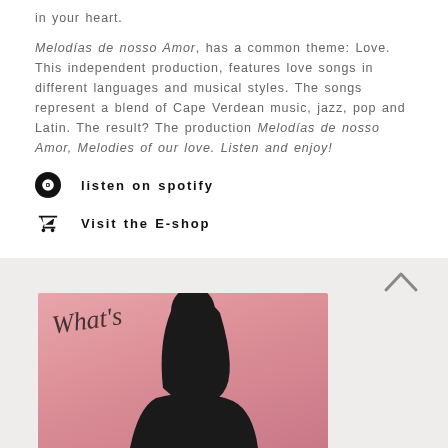in your heart.
Melodías de nosso Amor, has a common theme: Love. This independent production, features love songs in different languages and musical styles. The songs represent a blend of Cape Verdean music, jazz, pop and Latin. The result? The production Melodías de nosso Amor, Melodies of our love. Listen and enjoy!
listen on spotify
Visit the E-shop
[Figure (photo): Photo of a woman on a pink background with text overlay reading What's]